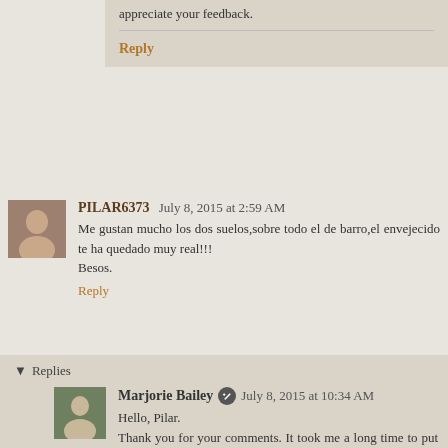appreciate your feedback.
Reply
PILAR6373  July 8, 2015 at 2:59 AM
Me gustan mucho los dos suelos,sobre todo el de barro,el envejecido te ha quedado muy real!!!
Besos.
Reply
Replies
Marjorie Bailey  July 8, 2015 at 10:34 AM
Hello, Pilar.
Thank you for your comments. It took me a long time to put all the "aging" paints on the floors - and I was never sure what it would look like in the end! So I'm happy that you like the way it looks.
Marjorie